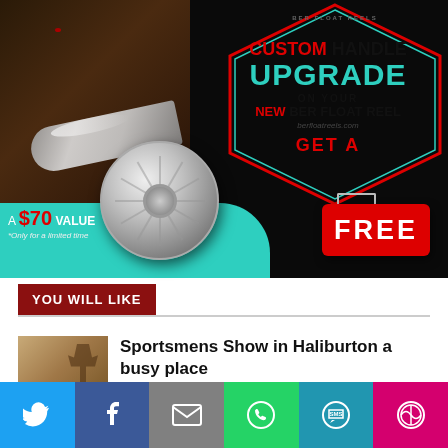[Figure (illustration): Advertisement for Ber Float Reels showing a bear catching a fish, a fly fishing reel, teal wave design, hexagonal border frame, red 'FREE' sign, with text: CUSTOM HANDLE UPGRADE ON YOUR NEW BER FLOAT REEL - GET A FREE - A $70 VALUE - Only for a limited time - berfloatreels.com]
YOU WILL LIKE
[Figure (photo): Thumbnail image of a deer/hunting scene with text overlay 'PPLE OUT']
Sportsmens Show in Haliburton a busy place
[Figure (infographic): Social sharing bar with buttons for Twitter, Facebook, Email, WhatsApp, SMS, and More]